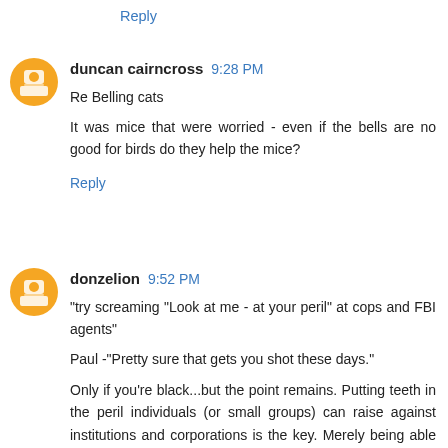Reply
duncan cairncross 9:28 PM
Re Belling cats

It was mice that were worried - even if the bells are no good for birds do they help the mice?
Reply
donzelion 9:52 PM
"try screaming "Look at me - at your peril" at cops and FBI agents"

Paul -"Pretty sure that gets you shot these days."

Only if you're black...but the point remains. Putting teeth in the peril individuals (or small groups) can raise against institutions and corporations is the key. Merely being able to watch them is barely a start: one has to be able to inflict